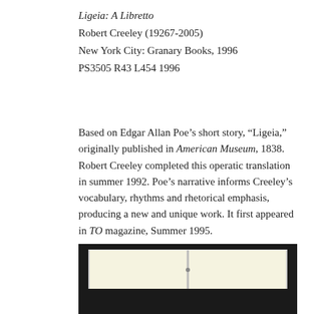Ligeia: A Libretto
Robert Creeley (19267-2005)
New York City: Granary Books, 1996
PS3505 R43 L454 1996
Based on Edgar Allan Poe’s short story, “Ligeia,” originally published in American Museum, 1838. Robert Creeley completed this operatic translation in summer 1992. Poe’s narrative informs Creeley’s vocabulary, rhythms and rhetorical emphasis, producing a new and unique work. It first appeared in TO magazine, Summer 1995.
[Figure (photo): Photograph of an open book against a dark background, showing cream-colored pages spread open with a visible spine in the center.]